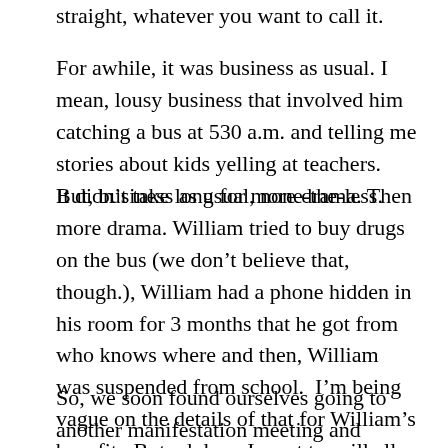straight, whatever you want to call it.
For awhile, it was business as usual. I mean, lousy business that involved him catching a bus at 530 a.m. and telling me stories about kids yelling at teachers.  But, business as usual, none-the-less.
It didn’t take long for more drama. Then more drama. William tried to buy drugs on the bus (we don’t believe that, though.), William had a phone hidden in his room for 3 months that he got from who knows where and then, William was suspended from school.  I’m being vague on the details of that for William’s benefit.  But, oh how I want to spill all so somebody can tell me what in the world to do.
So, we soon found ourselves going to another manifestation meeting and another disciplinary meeting so we could find out what his next